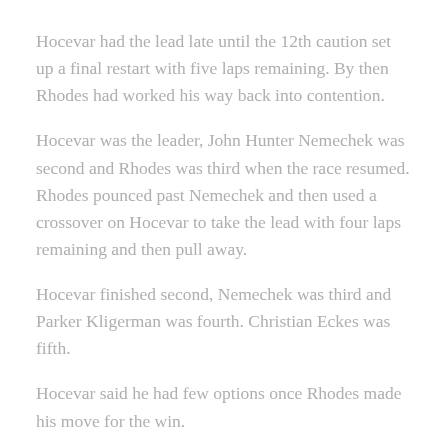Hocevar had the lead late until the 12th caution set up a final restart with five laps remaining. By then Rhodes had worked his way back into contention.
Hocevar was the leader, John Hunter Nemechek was second and Rhodes was third when the race resumed. Rhodes pounced past Nemechek and then used a crossover on Hocevar to take the lead with four laps remaining and then pull away.
Hocevar finished second, Nemechek was third and Parker Kligerman was fourth. Christian Eckes was fifth.
Hocevar said he had few options once Rhodes made his move for the win.
“I mean either rip the top or crash him, I hate saying that but it’s part of this racing,” Hocevar said. I couldn’t really compete with him. He just had better tires and he was the faster car all day. So we’re